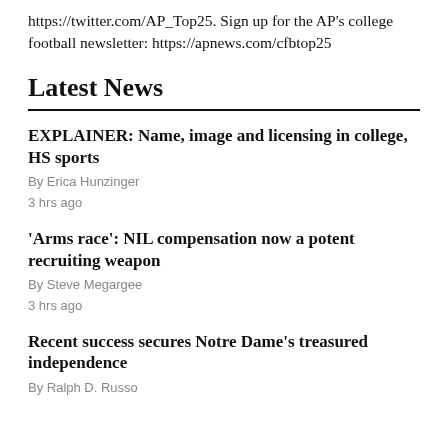https://twitter.com/AP_Top25. Sign up for the AP's college football newsletter: https://apnews.com/cfbtop25
Latest News
EXPLAINER: Name, image and licensing in college, HS sports
By Erica Hunzinger
3 hrs ago
'Arms race': NIL compensation now a potent recruiting weapon
By Steve Megargee
3 hrs ago
Recent success secures Notre Dame's treasured independence
By Ralph D. Russo